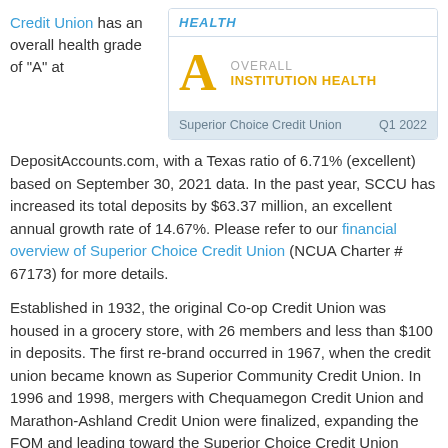Credit Union has an overall health grade of "A" at
[Figure (infographic): Health grade card showing Overall Institution Health grade of A for Superior Choice Credit Union Q1 2022]
DepositAccounts.com, with a Texas ratio of 6.71% (excellent) based on September 30, 2021 data. In the past year, SCCU has increased its total deposits by $63.37 million, an excellent annual growth rate of 14.67%. Please refer to our financial overview of Superior Choice Credit Union (NCUA Charter # 67173) for more details.
Established in 1932, the original Co-op Credit Union was housed in a grocery store, with 26 members and less than $100 in deposits. The first re-brand occurred in 1967, when the credit union became known as Superior Community Credit Union. In 1996 and 1998, mergers with Chequamegon Credit Union and Marathon-Ashland Credit Union were finalized, expanding the FOM and leading toward the Superior Choice Credit Union rebrand. In an unusual move, SCCU acquired